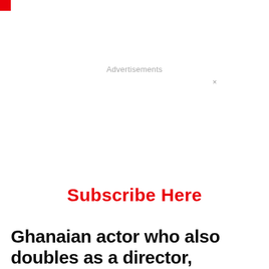Advertisements
×
Subscribe Here
Ghanaian actor who also doubles as a director, Richmond Xavier